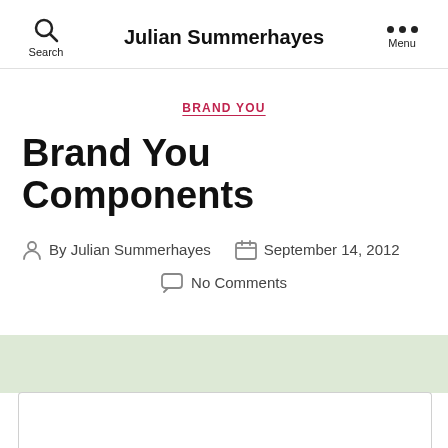Julian Summerhayes
BRAND YOU
Brand You Components
By Julian Summerhayes  September 14, 2012
No Comments